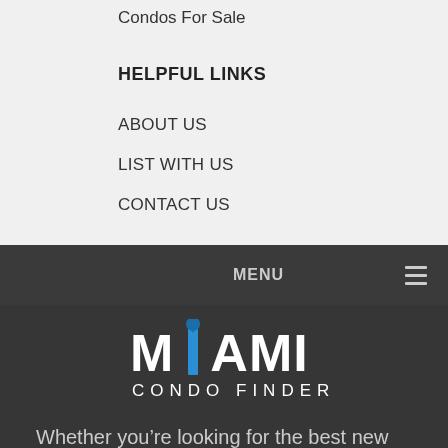Condos For Sale
HELPFUL LINKS
ABOUT US
LIST WITH US
CONTACT US
MENU
[Figure (logo): Miami Condo Finder logo with stylized blue location pin on the letter I]
Whether you’re looking for the best new luxury high-rise condominiums in beautiful Downtown